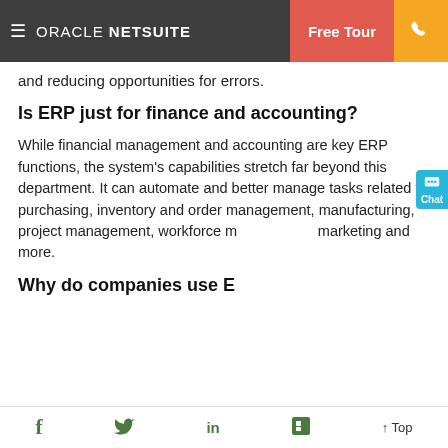ORACLE NETSUITE | Free Tour | [phone]
and reducing opportunities for errors.
Is ERP just for finance and accounting?
While financial management and accounting are key ERP functions, the system's capabilities stretch far beyond this department. It can automate and better manage tasks related to purchasing, inventory and order management, manufacturing, project management, workforce m... marketing and more.
Why do companies use E...
[Figure (screenshot): Sales Chat popup overlay with cyan/blue background. Title: 'Sales Chat', subtitle: 'How is your business adapting to change?', button: 'Start chat']
f  [twitter]  in  [flipboard]  ↑ Top